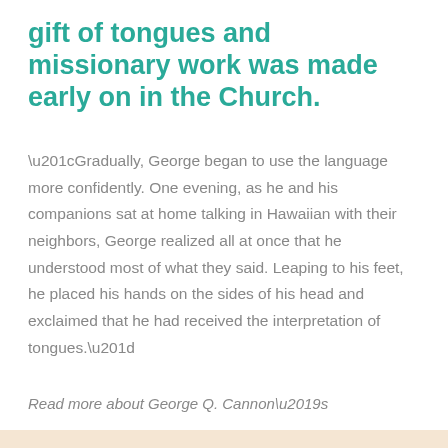gift of tongues and missionary work was made early on in the Church.
“Gradually, George began to use the language more confidently. One evening, as he and his companions sat at home talking in Hawaiian with their neighbors, George realized all at once that he understood most of what they said. Leaping to his feet, he placed his hands on the sides of his head and exclaimed that he had received the interpretation of tongues.”
Read more about George Q. Cannon’s